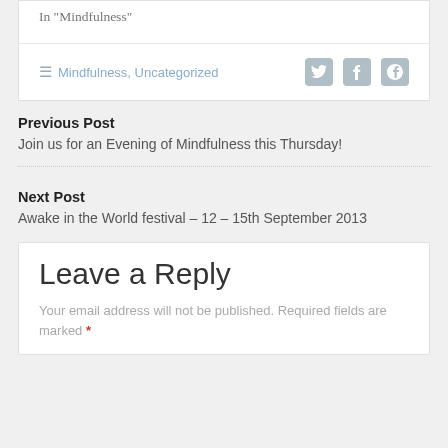In "Mindfulness"
Mindfulness, Uncategorized
Previous Post
Join us for an Evening of Mindfulness this Thursday!
Next Post
Awake in the World festival – 12 – 15th September 2013
Leave a Reply
Your email address will not be published. Required fields are marked *